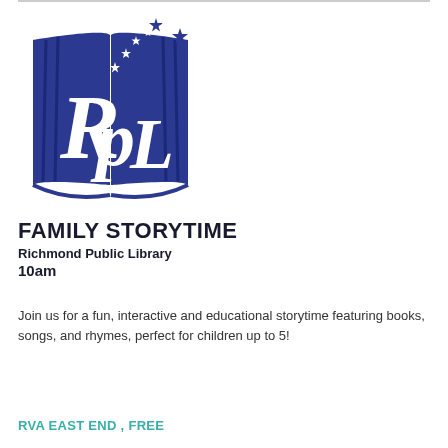[Figure (logo): Richmond Public Library logo: blue open book with white RPL letters and stars floating above]
FAMILY STORYTIME
Richmond Public Library
10am
Join us for a fun, interactive and educational storytime featuring books, songs, and rhymes, perfect for children up to 5!
RVA EAST END , FREE